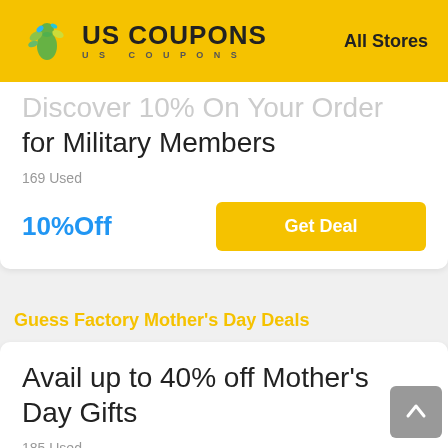US COUPONS | All Stores
Discover 10% Off Your Order for Military Members
169 Used
10%Off | Get Deal
Guess Factory Mother's Day Deals
Avail up to 40% off Mother's Day Gifts
185 Used
40%Off | Get Deal